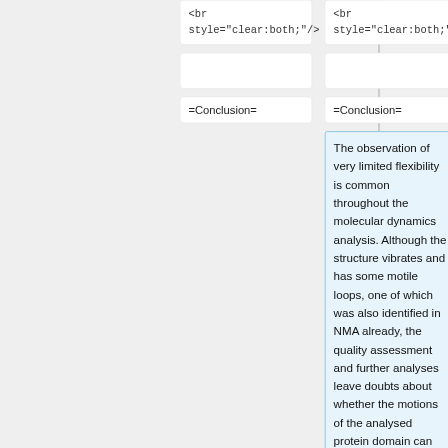<br style="clear:both;"/>
<br style="clear:both;"/>
=Conclusion=
=Conclusion=
The observation of very limited flexibility is common throughout the molecular dynamics analysis. Although the structure vibrates and has some motile loops, one of which was also identified in NMA already, the quality assessment and further analyses leave doubts about whether the motions of the analysed protein domain can be regarded